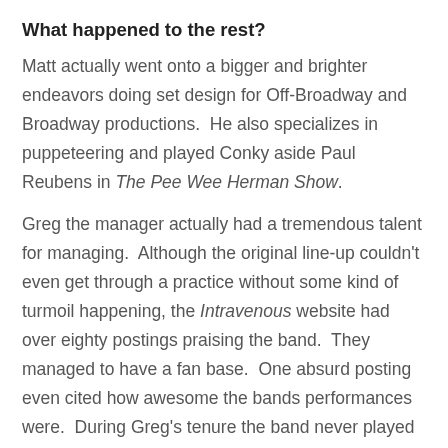What happened to the rest?
Matt actually went onto a bigger and brighter endeavors doing set design for Off-Broadway and Broadway productions.  He also specializes in puppeteering and played Conky aside Paul Reubens in The Pee Wee Herman Show.
Greg the manager actually had a tremendous talent for managing.  Although the original line-up couldn't even get through a practice without some kind of turmoil happening, the Intravenous website had over eighty postings praising the band.  They managed to have a fan base.  One absurd posting even cited how awesome the bands performances were.  During Greg's tenure the band never played a single show.  This was all Greg's promotional techniques creating